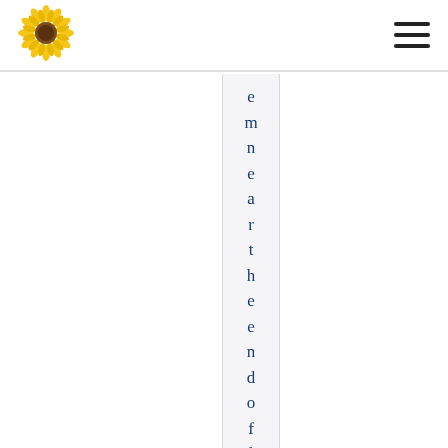[Figure (logo): Sunflower logo - yellow sunflower with brown center]
[Figure (other): Hamburger menu icon with three horizontal black lines]
emneartheendoflif